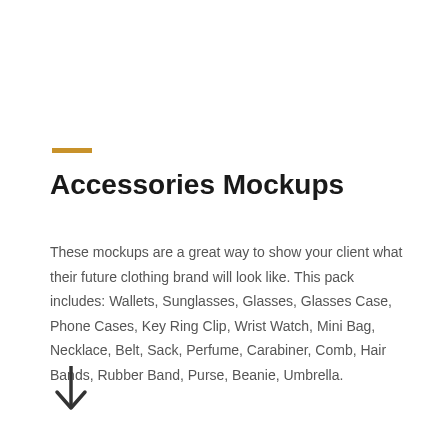Accessories Mockups
These mockups are a great way to show your client what their future clothing brand will look like. This pack includes: Wallets, Sunglasses, Glasses, Glasses Case, Phone Cases, Key Ring Clip, Wrist Watch, Mini Bag, Necklace, Belt, Sack, Perfume, Carabiner, Comb, Hair Bands, Rubber Band, Purse, Beanie, Umbrella.
[Figure (other): Downward pointing arrow icon]